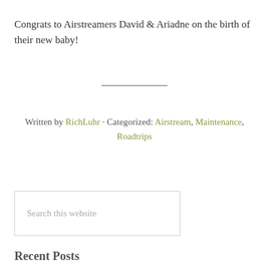Congrats to Airstreamers David & Ariadne on the birth of their new baby!
Written by RichLuhr · Categorized: Airstream, Maintenance, Roadtrips
Search this website
Recent Posts